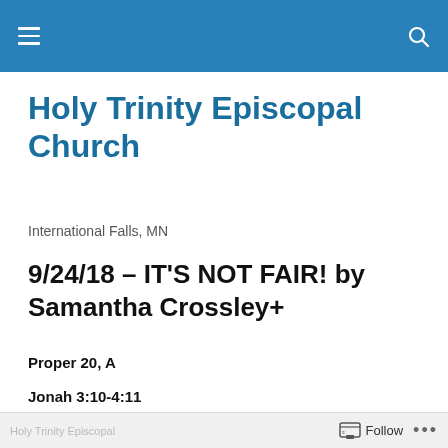Holy Trinity Episcopal Church
Holy Trinity Episcopal Church
International Falls, MN
9/24/18 – IT'S NOT FAIR! by Samantha Crossley+
Proper 20, A
Jonah 3:10-4:11
Follow